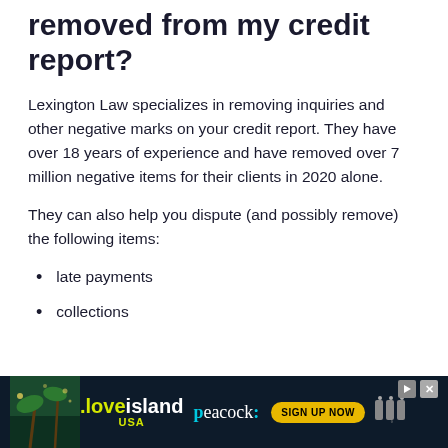removed from my credit report?
Lexington Law specializes in removing inquiries and other negative marks on your credit report. They have over 18 years of experience and have removed over 7 million negative items for their clients in 2020 alone.
They can also help you dispute (and possibly remove) the following items:
late payments
collections
[Figure (other): Love Island USA / Peacock advertisement banner with 'SIGN UP NOW' button]